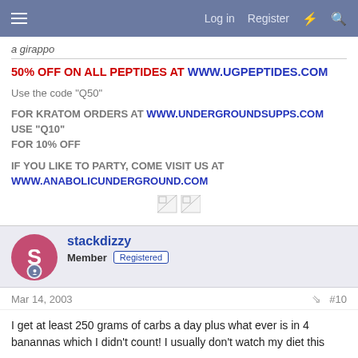Log in  Register
a girappo
50% OFF ON ALL PEPTIDES AT WWW.UGPEPTIDES.COM
Use the code "Q50"
FOR KRATOM ORDERS AT WWW.UNDERGROUNDSUPPS.COM USE "Q10" FOR 10% OFF
IF YOU LIKE TO PARTY, COME VISIT US AT WWW.ANABOLICUNDERGROUND.COM
[Figure (illustration): Two broken image placeholders]
stackdizzy
Member  Registered
Mar 14, 2003  #10
I get at least 250 grams of carbs a day plus what ever is in 4 banannas which I didn't count! I usually don't watch my diet this